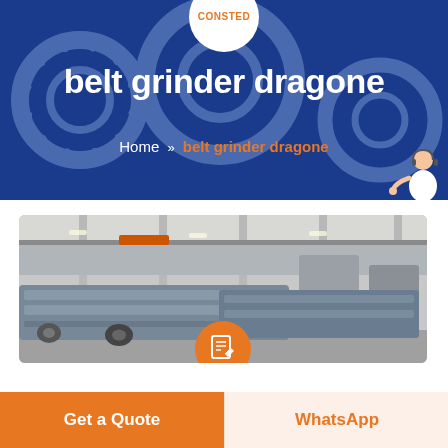CONSTED
belt grinder dragone
Home » belt grinder dragone
[Figure (photo): Industrial belt grinder machines lined up in a large factory warehouse setting, viewed from a low angle showing metal frames and rollers]
Get a Quote
WhatsApp